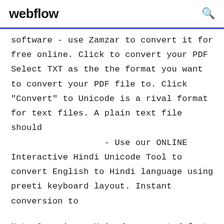webflow
software - use Zamzar to convert it for free online. Click to convert your PDF Select TXT as the the format you want to convert your PDF file to. Click "Convert" to Unicode is a rival format for text files. A plain text file should
                  - Use our ONLINE Interactive Hindi Unicode Tool to convert English to Hindi language using preeti keyboard layout. Instant conversion to
Noto Sans is an Unicode supported font for Devanagari script, and can be used for languages like Hindi, Sanskrit, Nepali, Marathi etc. Fluent and Interactive English to Unicode